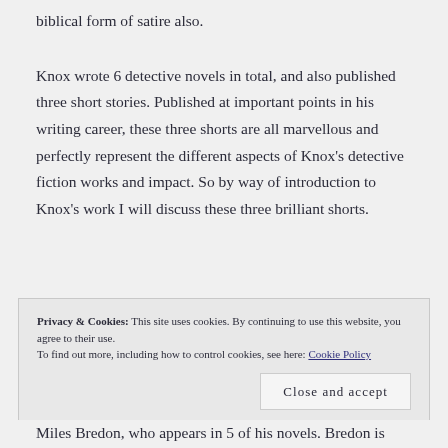biblical form of satire also.
Knox wrote 6 detective novels in total, and also published three short stories. Published at important points in his writing career, these three shorts are all marvellous and perfectly represent the different aspects of Knox’s detective fiction works and impact. So by way of introduction to Knox’s work I will discuss these three brilliant shorts.
Privacy & Cookies: This site uses cookies. By continuing to use this website, you agree to their use.
To find out more, including how to control cookies, see here: Cookie Policy
Close and accept
Miles Bredon, who appears in 5 of his novels. Bredon is